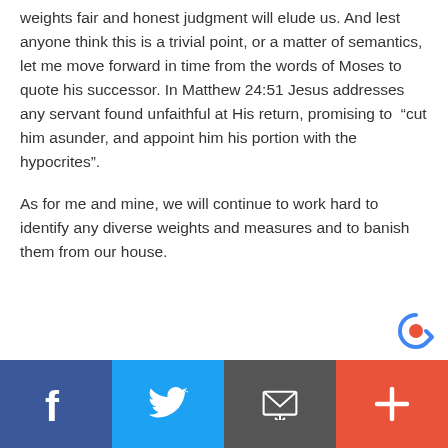weights fair and honest judgment will elude us. And lest anyone think this is a trivial point, or a matter of semantics, let me move forward in time from the words of Moses to quote his successor. In Matthew 24:51 Jesus addresses any servant found unfaithful at His return, promising to “cut him asunder, and appoint him his portion with the hypocrites”.
As for me and mine, we will continue to work hard to identify any diverse weights and measures and to banish them from our house.
[Figure (other): Social media share bar with four buttons: Facebook (blue), Twitter (light blue), Email/message (dark gray), and plus/more (orange-red)]